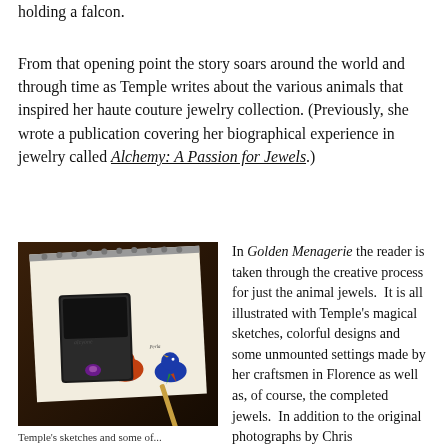holding a falcon.
From that opening point the story soars around the world and through time as Temple writes about the various animals that inspired her haute couture jewelry collection. (Previously, she wrote a publication covering her biographical experience in jewelry called Alchemy: A Passion for Jewels.)
[Figure (photo): Photo of a sketchbook open showing colorful bird sketches (parrots/falcons), with a dark object (possibly a jewelry form or stapler) on top and a pencil visible, laid on a wooden surface.]
Temple's sketches and some of...
In Golden Menagerie the reader is taken through the creative process for just the animal jewels. It is all illustrated with Temple's magical sketches, colorful designs and some unmounted settings made by her craftsmen in Florence as well as, of course, the completed jewels. In addition to the original photographs by Chris